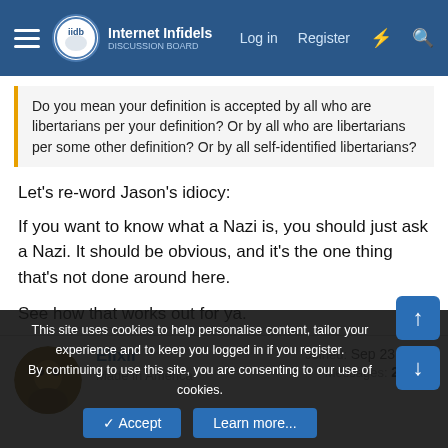Internet Infidels — Log in | Register
Do you mean your definition is accepted by all who are libertarians per your definition? Or by all who are libertarians per some other definition? Or by all self-identified libertarians?
Let's re-word Jason's idiocy:

If you want to know what a Nazi is, you should just ask a Nazi. It should be obvious, and it's the one thing that's not done around here.

See how that works out for ya.
Elixir
Made in America
Joined: Sep 23, 2012
Messages: 21,051
This site uses cookies to help personalise content, tailor your experience and to keep you logged in if you register.
By continuing to use this site, you are consenting to our use of cookies.